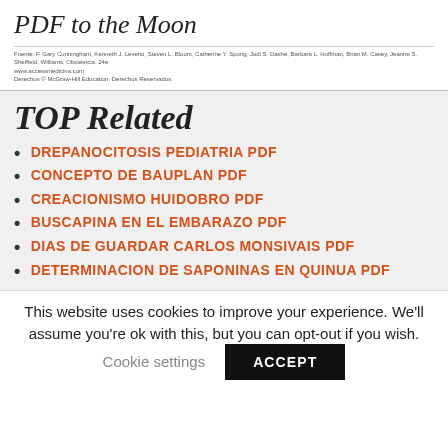PDF to the Moon
Fuente: F. Gary Cunningham, Kenneth J. Leveno, Steven L. Bloom, Catherine Y. Spong, Jodi S. Dashe, Barbara L. Hoffman, Brian M. Casey, Jeanne S. Sheffield. Williams. Obstetricia. 24e. www.accessmedicina.com Derechos © McGraw-Hill Education. Derechos Reservados.
TOP Related
DREPANOCITOSIS PEDIATRIA PDF
CONCEPTO DE BAUPLAN PDF
CREACIONISMO HUIDOBRO PDF
BUSCAPINA EN EL EMBARAZO PDF
DIAS DE GUARDAR CARLOS MONSIVAIS PDF
DETERMINACION DE SAPONINAS EN QUINUA PDF
This website uses cookies to improve your experience. We'll assume you're ok with this, but you can opt-out if you wish.
Cookie settings  ACCEPT